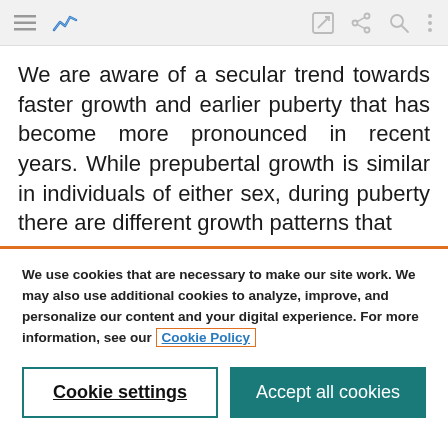[Figure (screenshot): Browser toolbar with hamburger menu, blue chart/graph icon (active), edit icon, share icon, search icon, and vertical dots menu icon on grey background]
We are aware of a secular trend towards faster growth and earlier puberty that has become more pronounced in recent years. While prepubertal growth is similar in individuals of either sex, during puberty there are different growth patterns that
We use cookies that are necessary to make our site work. We may also use additional cookies to analyze, improve, and personalize our content and your digital experience. For more information, see our Cookie Policy
Cookie settings
Accept all cookies